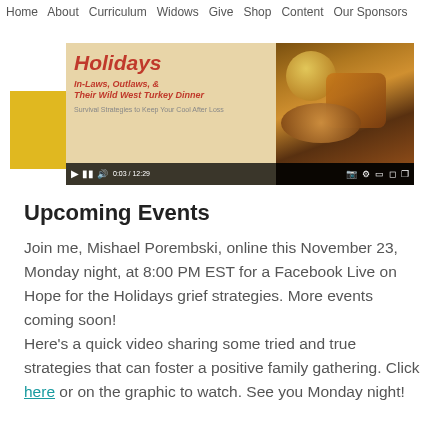Home  About  Curriculum  Widows  Give  Shop  Content  Our Sponsors
[Figure (screenshot): Video player showing 'Holidays' with subtitle 'In-Laws, Outlaws, & Their Wild West Turkey Dinner' and tagline about strategies to keep cool after loss. Left panel has beige background with red italic text. Right panel shows food photo. Video controls visible at bottom.]
Upcoming Events
Join me, Mishael Porembski, online this November 23, Monday night, at 8:00 PM EST for a Facebook Live on Hope for the Holidays grief strategies. More events coming soon!
Here's a quick video sharing some tried and true strategies that can foster a positive family gathering. Click here or on the graphic to watch. See you Monday night!